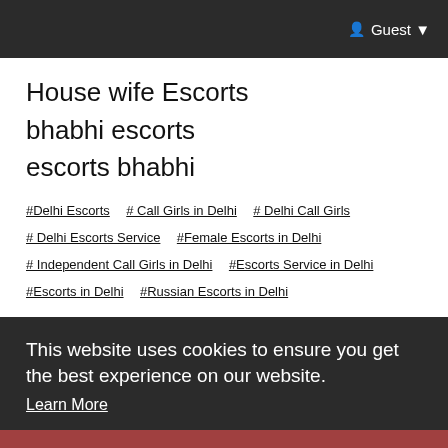Guest
House wife Escorts
bhabhi escorts
escorts bhabhi
#Delhi Escorts
# Call Girls in Delhi
# Delhi Call Girls
# Delhi Escorts Service
#Female Escorts in Delhi
# Independent Call Girls in Delhi
#Escorts Service in Delhi
#Escorts in Delhi
#Russian Escorts in Delhi
This website uses cookies to ensure you get the best experience on our website.
Learn More
Got It!